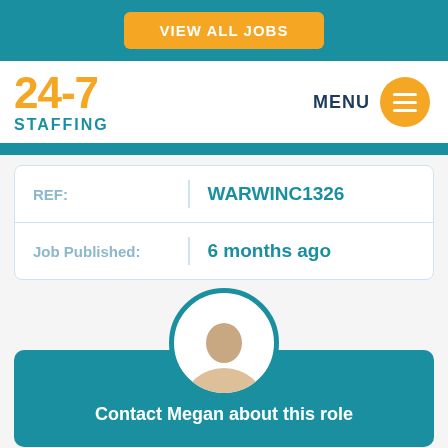VIEW ALL JOBS
[Figure (logo): 24-7 Staffing logo with orange numerals and teal text]
MENU
| Field | Value |
| --- | --- |
| REF: | WARWINC1326 |
| Job Published: | 6 months ago |
Contact Megan about this role
Share